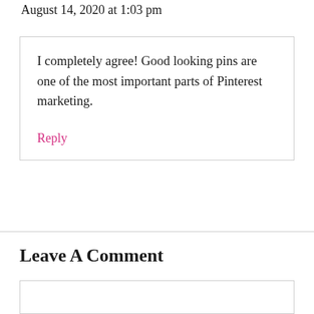August 14, 2020 at 1:03 pm
I completely agree! Good looking pins are one of the most important parts of Pinterest marketing.
Reply
Leave A Comment